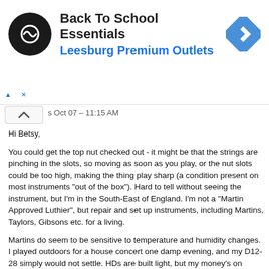[Figure (other): Advertisement banner: Back To School Essentials - Leesburg Premium Outlets, with a circular black logo with white infinity-like symbol, and a blue diamond directions icon on the right.]
s Oct 07 – 11:15 AM
Hi Betsy,

You could get the top nut checked out - it might be that the strings are pinching in the slots, so moving as soon as you play, or the nut slots could be too high, making the thing play sharp (a condition present on most instruments "out of the box"). Hard to tell without seeing the instrument, but I'm in the South-East of England. I'm not a "Martin Approved Luthier", but repair and set up instruments, including Martins, Taylors, Gibsons etc. for a living.

Martins do seem to be sensitive to temperature and humidity changes. I played outdoors for a house concert one damp evening, and my D12-28 simply would not settle. HDs are built light, but my money's on something simple being wrong.


Hope you get it sorted - if you do you should have an absolute beauty to play.